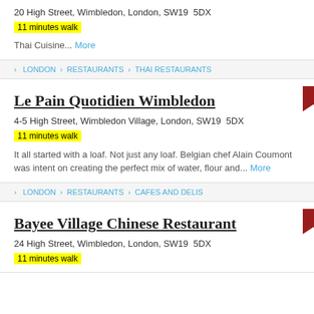20 High Street, Wimbledon, London, SW19  5DX
11 minutes walk
Thai Cuisine... More
> LONDON > RESTAURANTS > THAI RESTAURANTS
Le Pain Quotidien Wimbledon
4-5 High Street, Wimbledon Village, London, SW19  5DX
11 minutes walk
It all started with a loaf. Not just any loaf. Belgian chef Alain Coumont was intent on creating the perfect mix of water, flour and... More
> LONDON > RESTAURANTS > CAFES AND DELIS
Bayee Village Chinese Restaurant
24 High Street, Wimbledon, London, SW19  5DX
11 minutes walk
Chinese Cuisine... More